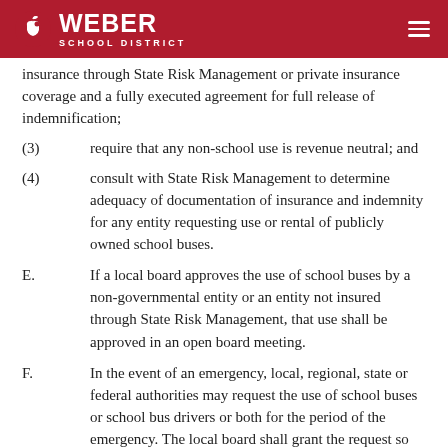Weber School District
insurance through State Risk Management or private insurance coverage and a fully executed agreement for full release of indemnification;
(3)        require that any non-school use is revenue neutral; and
(4)        consult with State Risk Management to determine adequacy of documentation of insurance and indemnity for any entity requesting use or rental of publicly owned school buses.
E.         If a local board approves the use of school buses by a non-governmental entity or an entity not insured through State Risk Management, that use shall be approved in an open board meeting.
F.         In the event of an emergency, local, regional, state or federal authorities may request the use of school buses or school bus drivers or both for the period of the emergency. The local board shall grant the request so long as the use can be accommodated consistent with continuing student transportation and student safety requirements.
R277-600-10. Board Local Lew.